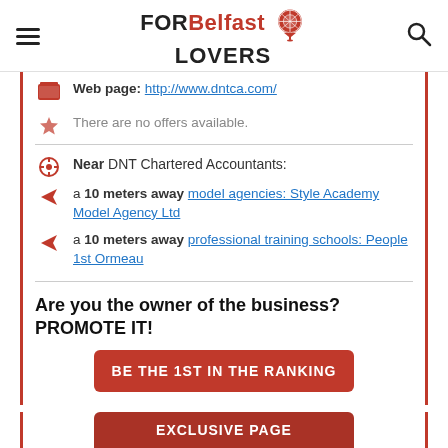FOR Belfast LOVERS
Web page: http://www.dntca.com/
There are no offers available.
Near DNT Chartered Accountants:
a 10 meters away model agencies: Style Academy Model Agency Ltd
a 10 meters away professional training schools: People 1st Ormeau
Are you the owner of the business? PROMOTE IT!
BE THE 1ST IN THE RANKING
EXCLUSIVE PAGE